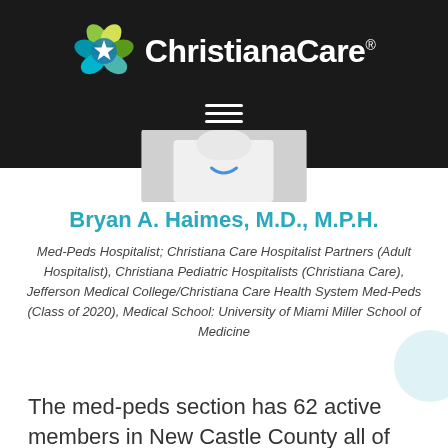[Figure (logo): ChristianaCare logo with colorful flower/petal icon and white text on dark background]
[Figure (photo): Partial photo of doctor in white coat with stethoscope]
Bryan A. Haimes, M.D., M.P.H.
Med-Peds Hospitalist; Christiana Care Hospitalist Partners (Adult Hospitalist), Christiana Pediatric Hospitalists (Christiana Care), Jefferson Medical College/Christiana Care Health System Med-Peds (Class of 2020), Medical School: University of Miami Miller School of Medicine
The med-peds section has 62 active members in New Castle County all of